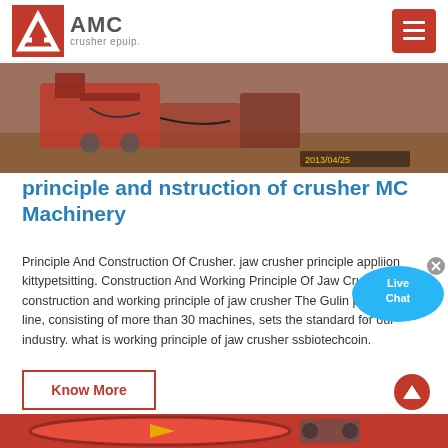AMC crusher epuip.
[Figure (photo): Photo of industrial crusher machinery on a construction/mining site, dated 2013/04/25]
principle and nstruction of crusher MC Machinery
Principle And Construction Of Crusher. jaw crusher principle appliion kittypetsitting. Construction And Working Principle Of Jaw Crusher. construction and working principle of jaw crusher The Gulin product line, consisting of more than 30 machines, sets the standard for our industry. what is working principle of jaw crusher ssbiotechcoin.
[Figure (infographic): Live Chat speech bubble widget]
Know More
[Figure (photo): Photo of red industrial crusher/mill equipment]